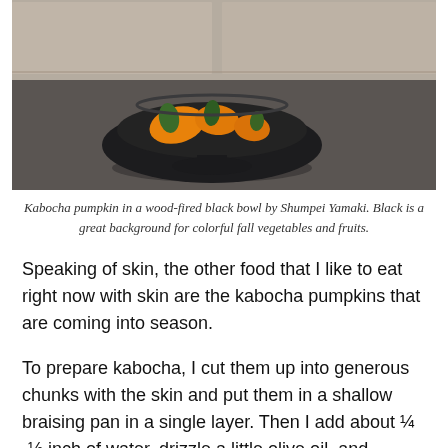[Figure (photo): A dark round bowl holding chunks of kabocha pumpkin with green skin and orange flesh, placed on a dark grey surface with a blurred light background behind.]
Kabocha pumpkin in a wood-fired black bowl by Shumpei Yamaki. Black is a great background for colorful fall vegetables and fruits.
Speaking of skin, the other food that I like to eat right now with skin are the kabocha pumpkins that are coming into season.
To prepare kabocha, I cut them up into generous chunks with the skin and put them in a shallow braising pan in a single layer. Then I add about ¼ -½ inch of water, drizzle a little olive oil, and sprinkle salt